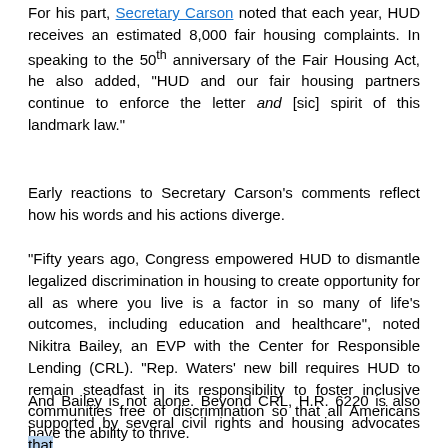For his part, Secretary Carson noted that each year, HUD receives an estimated 8,000 fair housing complaints. In speaking to the 50th anniversary of the Fair Housing Act, he also added, "HUD and our fair housing partners continue to enforce the letter and [sic] spirit of this landmark law."
Early reactions to Secretary Carson's comments reflect how his words and his actions diverge.
"Fifty years ago, Congress empowered HUD to dismantle legalized discrimination in housing to create opportunity for all as where you live is a factor in so many of life's outcomes, including education and healthcare", noted Nikitra Bailey, an EVP with the Center for Responsible Lending (CRL). "Rep. Waters' new bill requires HUD to remain steadfast in its responsibility to foster inclusive communities free of discrimination so that all Americans have the ability to thrive.
And Bailey is not alone. Beyond CRL, H.R. 6220 is also supported by several civil rights and housing advocates that include: National Fair Housing Alliance, The Leadership...